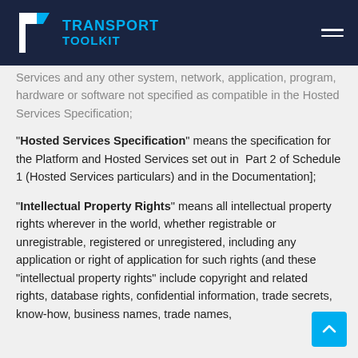TRANSPORT TOOLKIT
Services and any other system, network, application, program, hardware or software not specified as compatible in the Hosted Services Specification;
"Hosted Services Specification" means the specification for the Platform and Hosted Services set out in Part 2 of Schedule 1 (Hosted Services particulars) and in the Documentation];
"Intellectual Property Rights" means all intellectual property rights wherever in the world, whether registrable or unregistrable, registered or unregistered, including any application or right of application for such rights (and these "intellectual property rights" include copyright and related rights, database rights, confidential information, trade secrets, know-how, business names, trade names,